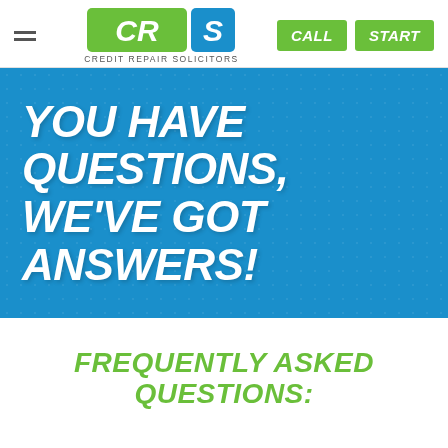[Figure (logo): CRS Credit Repair Solicitors logo with green square containing white CR and blue S, plus green CALL and START buttons in header]
[Figure (infographic): Blue banner with dotted texture pattern containing bold white italic text: YOU HAVE QUESTIONS, WE'VE GOT ANSWERS!]
FREQUENTLY ASKED QUESTIONS: